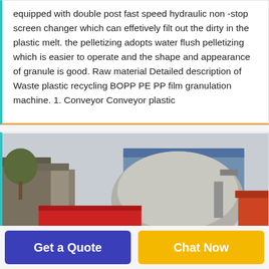equipped with double post fast speed hydraulic non -stop screen changer which can effetively filt out the dirty in the plastic melt. the pelletizing adopts water flush pelletizing which is easier to operate and the shape and appearance of granule is good. Raw material Detailed description of Waste plastic recycling BOPP PE PP film granulation machine. 1. Conveyor Conveyor plastic
[Figure (photo): Outdoor industrial yard showing a large waste plastic recycling granulation machine with a prominent red rectangular housing/container in the foreground and a large grey dome-shaped component behind it, with industrial buildings and machinery in the background.]
Get a Quote
Chat Now